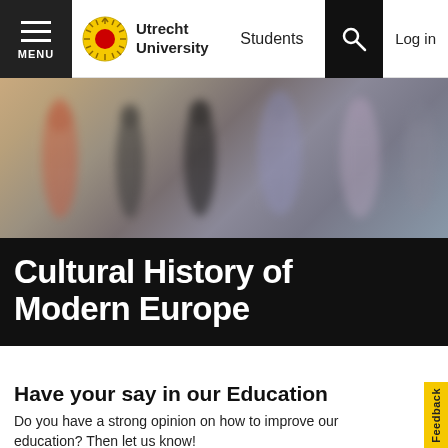MENU | Utrecht University | Students | Log in
[Figure (photo): Blurred motion photo of people walking, used as hero banner image]
Cultural History of Modern Europe
Have your say in our Education
Do you have a strong opinion on how to improve our education? Then let us know!
Fill in evaluations about the education at Utrecht University
Become active in one of our representative bodie